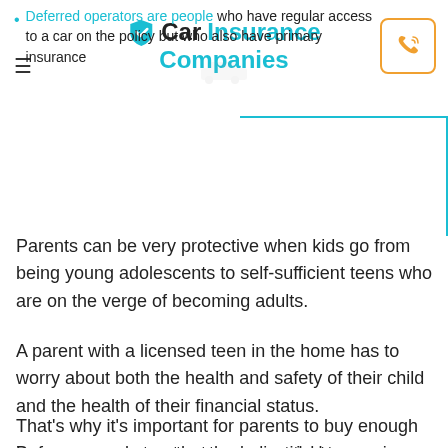Car Insurance Companies
Deferred operators are people who have regular access to a car on the policy but who also have primary insurance
Parents can be very protective when kids go from being young adolescents to self-sufficient teens who are on the verge of becoming adults.
A parent with a licensed teen in the home has to worry about both the health and safety of their child and the health of their financial status.
That's why it's important for parents to buy enough insurance and structure the policy right.
Before you assume that you're entitled to receive coverage under your parents' insurance, here's what